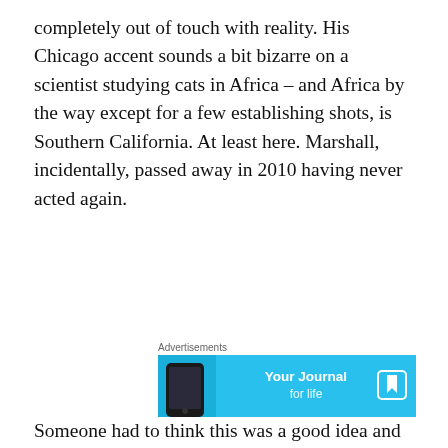completely out of touch with reality. His Chicago accent sounds a bit bizarre on a scientist studying cats in Africa – and Africa by the way except for a few establishing shots, is Southern California. At least here. Marshall, incidentally, passed away in 2010 having never acted again.
[Figure (other): Advertisement banner with light blue background showing a phone graphic on the left, the text 'Your Journal for life' in the center, and a bookmark icon on the right. Labeled 'Advertisements' above.]
Someone had to think this was a good idea and it's a good bet that some sort of drug use was involved with the
Privacy & Cookies: This site uses cookies. By continuing to use this website, you agree to their use.
To find out more, including how to control cookies, see here: Cookie Policy
Close and accept